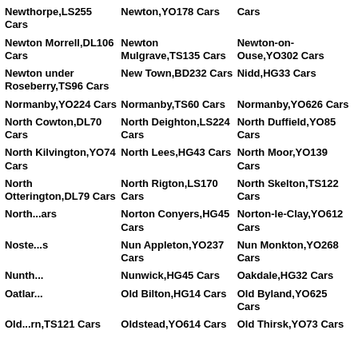Newthorpe,LS255 Cars
Newton,YO178 Cars
Cars
Newton Morrell,DL106 Cars
Newton Mulgrave,TS135 Cars
Newton-on-Ouse,YO302 Cars
Newton under Roseberry,TS96 Cars
New Town,BD232 Cars
Nidd,HG33 Cars
Normanby,YO224 Cars
Normanby,TS60 Cars
Normanby,YO626 Cars
North Cowton,DL70 Cars
North Deighton,LS224 Cars
North Duffield,YO85 Cars
North Kilvington,YO74 Cars
North Lees,HG43 Cars
North Moor,YO139 Cars
North Otterington,DL79 Cars
North Rigton,LS170 Cars
North Skelton,TS122 Cars
North...Cars
Norton Conyers,HG45 Cars
Norton-le-Clay,YO612 Cars
Noste...s
Nun Appleton,YO237 Cars
Nun Monkton,YO268 Cars
Nunth...
Nunwick,HG45 Cars
Oakdale,HG32 Cars
Oatlar...
Old Bilton,HG14 Cars
Old Byland,YO625 Cars
Old...rn,TS121 Cars
Oldstead,YO614 Cars
Old Thirsk,YO73 Cars